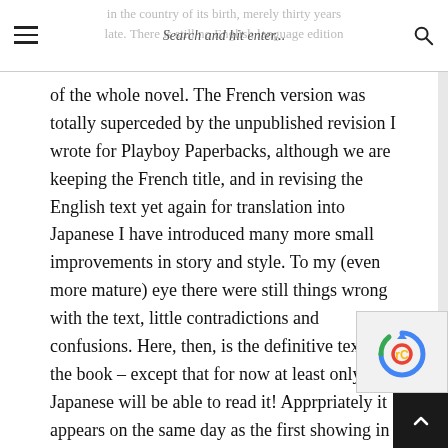in the country of its birth, merely thirty years late. There is still no English language edition | Search and hit enter...
of the whole novel. The French version was totally superceded by the unpublished revision I wrote for Playboy Paperbacks, although we are keeping the French title, and in revising the English text yet again for translation into Japanese I have introduced many more small improvements in story and style. To my (even more mature) eye there were still things wrong with the text, little contradictions and confusions. Here, then, is the definitive text of the book – except that for now at least only the Japanese will be able to read it! Apprpriately it appears on the same day as the first showing in Japan of the movie A.I. Artificial Intelligence, on which I worked with Stanley Kubrick for a year and which has finally been filmed by Steven Spielberg, his screenplay based on my screen